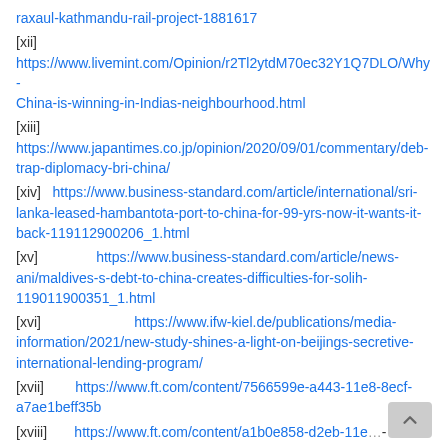raxaul-kathmandu-rail-project-1881617
[xii] https://www.livemint.com/Opinion/r2Tl2ytdM70ec32Y1Q7DLO/Why-China-is-winning-in-Indias-neighbourhood.html
[xiii] https://www.japantimes.co.jp/opinion/2020/09/01/commentary/deb-trap-diplomacy-bri-china/
[xiv] https://www.business-standard.com/article/international/sri-lanka-leased-hambantota-port-to-china-for-99-yrs-now-it-wants-it-back-119112900206_1.html
[xv] https://www.business-standard.com/article/news-ani/maldives-s-debt-to-china-creates-difficulties-for-solih-119011900351_1.html
[xvi] https://www.ifw-kiel.de/publications/media-information/2021/new-study-shines-a-light-on-beijings-secretive-international-lending-program/
[xvii] https://www.ft.com/content/7566599e-a443-11e8-8ecf-a7ae1beff35b
[xviii] https://www.ft.com/content/a1b0e858-d2eb-11e…-